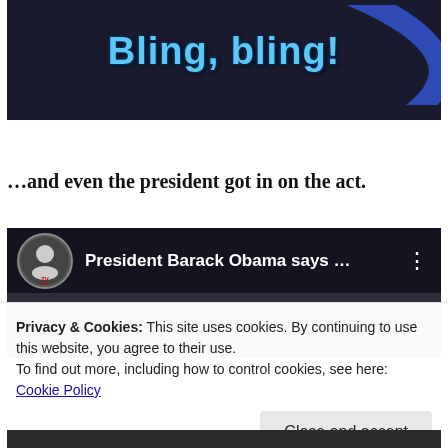[Figure (screenshot): Screenshot of a dark image/meme with text 'Bling, bling!' in blue stylized font over a dark background with a man in a suit and a blue arc/swoosh on the right side.]
…and even the president got in on the act.
[Figure (screenshot): YouTube video embed showing 'President Barack Obama says …' with a channel avatar (skull logo, TV KHF label), and a blurred face in the lower portion of the video.]
Privacy & Cookies: This site uses cookies. By continuing to use this website, you agree to their use.
To find out more, including how to control cookies, see here: Cookie Policy
Close and accept